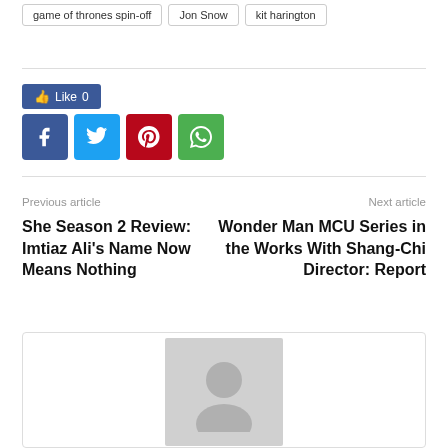game of thrones spin-off
Jon Snow
kit harington
[Figure (other): Facebook Like button showing 'Like 0']
[Figure (other): Social sharing icons: Facebook, Twitter, Pinterest, WhatsApp]
Previous article
Next article
She Season 2 Review: Imtiaz Ali's Name Now Means Nothing
Wonder Man MCU Series in the Works With Shang-Chi Director: Report
[Figure (photo): Default avatar placeholder image (gray silhouette of a person)]